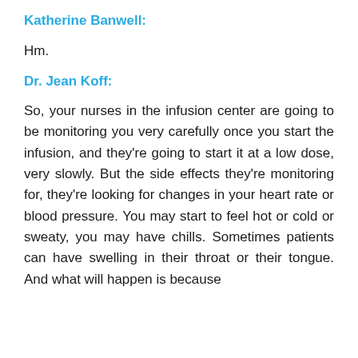Katherine Banwell:
Hm.
Dr. Jean Koff:
So, your nurses in the infusion center are going to be monitoring you very carefully once you start the infusion, and they’re going to start it at a low dose, very slowly. But the side effects they’re monitoring for, they’re looking for changes in your heart rate or blood pressure. You may start to feel hot or cold or sweaty, you may have chills. Sometimes patients can have swelling in their throat or their tongue. And what will happen is because